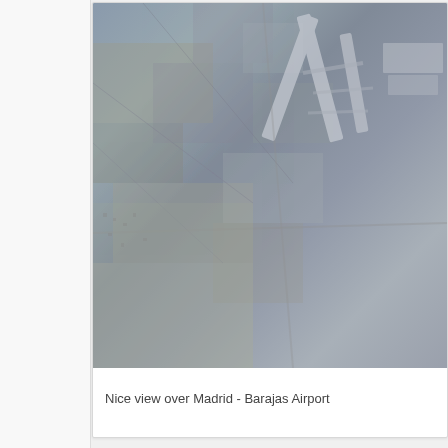[Figure (photo): Aerial photograph of Madrid - Barajas Airport area showing runways, taxiways, and surrounding urban development viewed from above]
Nice view over Madrid - Barajas Airport
[Figure (photo): Aerial photograph of Madrid city area showing dense urban development, roads, and surrounding landscape viewed from high altitude]